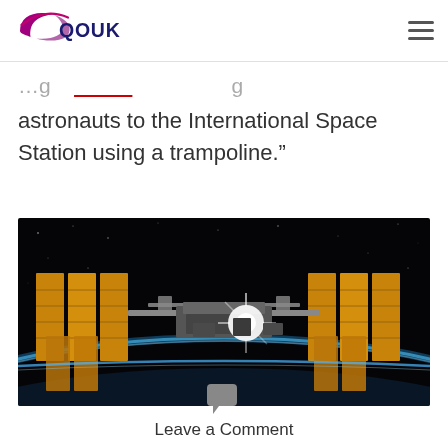QOUK
…g … astronauts to the International Space Station using a trampoline.”
[Figure (photo): International Space Station (ISS) photographed against the dark backdrop of space with the Earth's blue horizon below. Large golden solar panels extend from both sides of the station with a bright sun flare visible near center.]
Leave a Comment